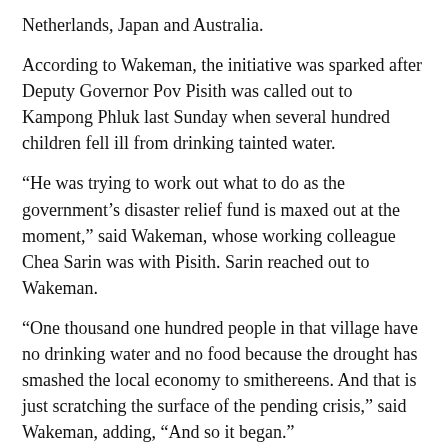Netherlands, Japan and Australia.
According to Wakeman, the initiative was sparked after Deputy Governor Pov Pisith was called out to Kampong Phluk last Sunday when several hundred children fell ill from drinking tainted water.
“He was trying to work out what to do as the government’s disaster relief fund is maxed out at the moment,” said Wakeman, whose working colleague Chea Sarin was with Pisith. Sarin reached out to Wakeman.
“One thousand one hundred people in that village have no drinking water and no food because the drought has smashed the local economy to smithereens. And that is just scratching the surface of the pending crisis,” said Wakeman, adding, “And so it began.”
The relief efforts appeared to be relatively ad hoc in the early stages, with needs being identified based on word of mouth and reports from colleagues and associates in the field.
However, the group is taking and following advice from the governor’s office, and the first delivery, which had been destined for Kampong Phluk, was rerouted to Pouk at the